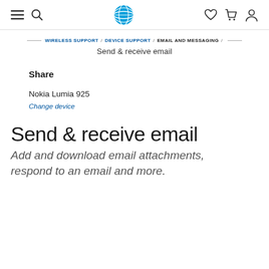AT&T website navigation bar with menu, search, logo, wishlist, cart, and account icons
WIRELESS SUPPORT / DEVICE SUPPORT / EMAIL AND MESSAGING /
Send & receive email
Share
Nokia Lumia 925
Change device
Send & receive email
Add and download email attachments, respond to an email and more.